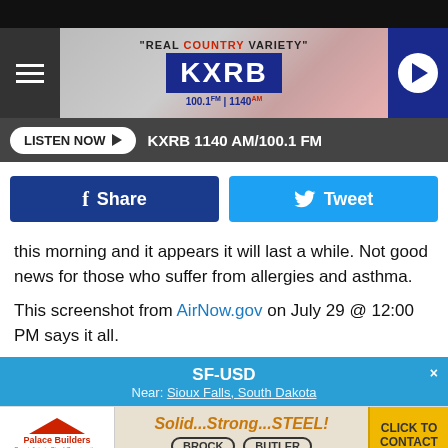[Figure (screenshot): KXRB radio station website header with logo, tagline 'REAL COUNTRY VARIETY', frequency 100.1 FM | 1140 AM, hamburger menu, and play button]
[Figure (screenshot): Listen Now button and KXRB 1140 AM/100.1 FM station name on dark background bar]
[Figure (screenshot): Facebook Share button (dark blue) and Tweet button (light blue) social sharing row]
this morning and it appears it will last a while. Not good news for those who suffer from allergies and asthma.
This screenshot from AirNow.gov on July 29 @ 12:00 PM says it all.
[Figure (screenshot): SF-USD location banner with 'Near: Sioux Falls, South Dakota' on blue background]
[Figure (screenshot): Palace Builders advertisement: Solid...Strong...STEEL! with Brock and Butler brands and Click To Contact button]